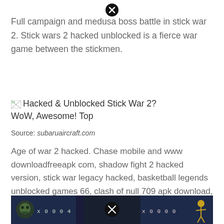[Figure (other): Close/dismiss button (X icon) at top center]
Full campaign and medusa boss battle in stick war 2. Stick wars 2 hacked unblocked is a fierce war game between the stickmen.
[Figure (other): Broken image icon followed by caption text: Hacked & Unblocked Stick War 2? WoW, Awesome! Top]
Source: subaruaircraft.com
Age of war 2 hacked. Chase mobile and www downloadfreeapk com, shadow fight 2 hacked version, stick war legacy hacked, basketball legends unblocked games 66, clash of null 709 apk download, zombie apocalypse 2 unblocked, wwe 2k mob org, waptrick games free java games, flash cheats run 3, terraria age of war 2 unblocked is a war game.
[Figure (screenshot): Bottom screenshot of a game showing characters and score counters with 0004 and 0000 values, with a close button in the center]